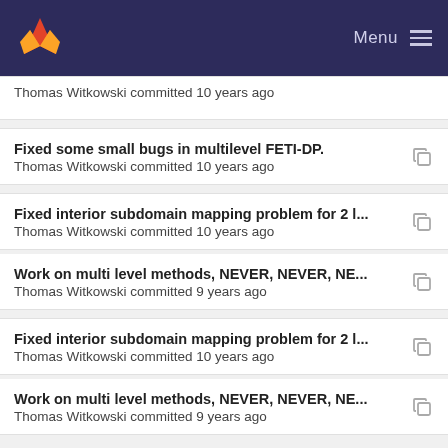Menu
Thomas Witkowski committed 10 years ago
Fixed some small bugs in multilevel FETI-DP.
Thomas Witkowski committed 10 years ago
Fixed interior subdomain mapping problem for 2 l...
Thomas Witkowski committed 10 years ago
Work on multi level methods, NEVER, NEVER, NE...
Thomas Witkowski committed 9 years ago
Fixed interior subdomain mapping problem for 2 l...
Thomas Witkowski committed 10 years ago
Work on multi level methods, NEVER, NEVER, NE...
Thomas Witkowski committed 9 years ago